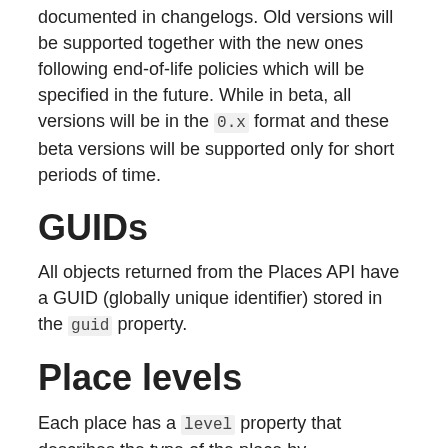documented in changelogs. Old versions will be supported together with the new ones following end-of-life policies which will be specified in the future. While in beta, all versions will be in the 0.x format and these beta versions will be supported only for short periods of time.
GUIDs
All objects returned from the Places API have a GUID (globally unique identifier) stored in the guid property.
Place levels
Each place has a level property that describes the type of the place by administration level. Supported levels are:
continent
country
state
region